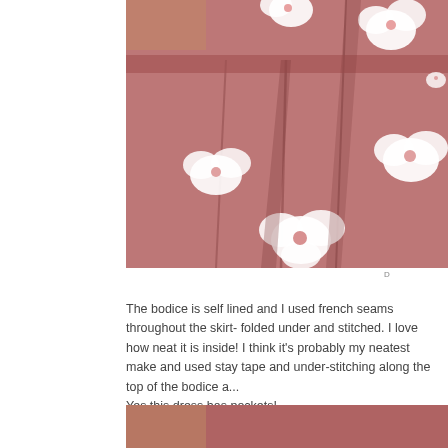[Figure (photo): Close-up photo of a red/pink floral fabric dress with white hibiscus flowers, showing pleated skirt detail against a wooden background.]
D
The bodice is self lined and I used french seams throughout the skirt- folded under and stitched. I love how neat it is inside! I think it's probably my neatest make and used stay tape and under-stitching along the top of the bodice a... Yes this dress has pockets!
[Figure (photo): Bottom portion of a photo showing the same red/pink floral fabric dress detail.]